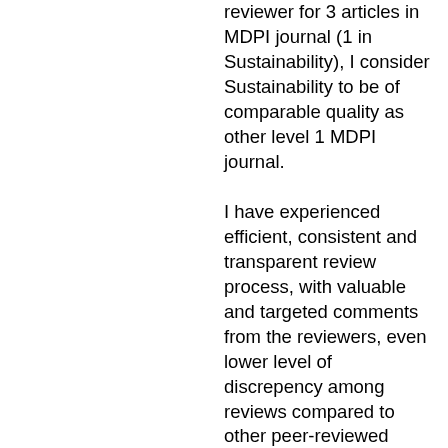reviewer for 3 articles in MDPI journal (1 in Sustainability), I consider Sustainability to be of comparable quality as other level 1 MDPI journal. I have experienced efficient, consistent and transparent review process, with valuable and targeted comments from the reviewers, even lower level of discrepency among reviews compared to other peer-reviewed journals. Communication with